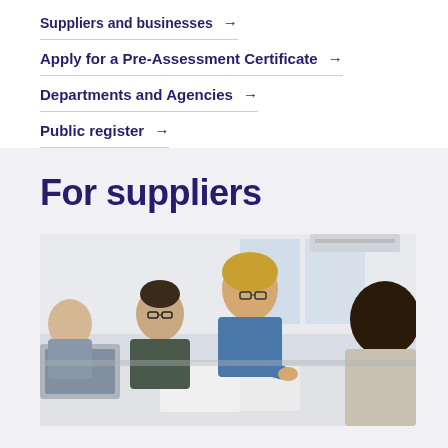Suppliers and businesses →
Apply for a Pre-Assessment Certificate →
Departments and Agencies →
Public register →
For suppliers
[Figure (photo): Business meeting photo showing four people around a table, a woman in a blue denim shirt leaning over documents, with others seated around her including a man with glasses and a laptop, and another person on the right.]